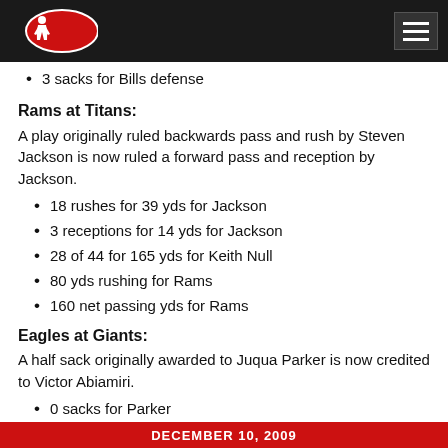Sports stats logo and navigation
3 sacks for Bills defense
Rams at Titans:
A play originally ruled backwards pass and rush by Steven Jackson is now ruled a forward pass and reception by Jackson.
18 rushes for 39 yds for Jackson
3 receptions for 14 yds for Jackson
28 of 44 for 165 yds for Keith Null
80 yds rushing for Rams
160 net passing yds for Rams
Eagles at Giants:
A half sack originally awarded to Juqua Parker is now credited to Victor Abiamiri.
0 sacks for Parker
0.5 sacks for Abiamiri
As always we strive to give you the most accurate stats possible for your fantasy league.
DECEMBER 10, 2009